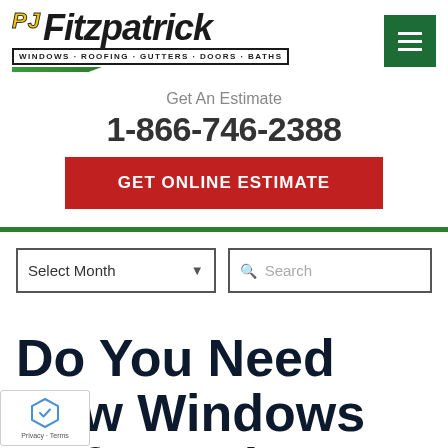[Figure (logo): PJ Fitzpatrick logo with tagline: WINDOWS · ROOFING · GUTTERS · DOORS · BATHS]
[Figure (other): Green hamburger menu button with three white horizontal lines]
Get An Estimate
1-866-746-2388
GET ONLINE ESTIMATE
[Figure (other): Select Month dropdown]
[Figure (other): Search box with magnifying glass icon]
Do You Need New Windows Before Winter?
[Figure (other): reCAPTCHA badge with Privacy · Terms]